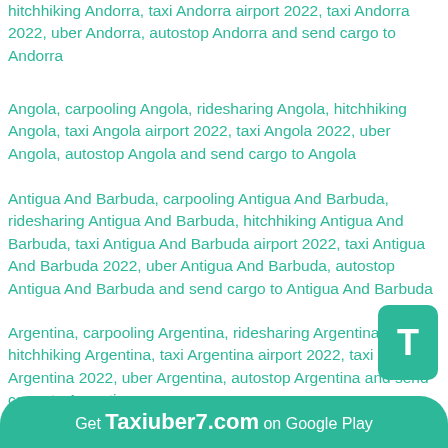hitchhiking Andorra, taxi Andorra airport 2022, taxi Andorra 2022, uber Andorra, autostop Andorra and send cargo to Andorra
Angola, carpooling Angola, ridesharing Angola, hitchhiking Angola, taxi Angola airport 2022, taxi Angola 2022, uber Angola, autostop Angola and send cargo to Angola
Antigua And Barbuda, carpooling Antigua And Barbuda, ridesharing Antigua And Barbuda, hitchhiking Antigua And Barbuda, taxi Antigua And Barbuda airport 2022, taxi Antigua And Barbuda 2022, uber Antigua And Barbuda, autostop Antigua And Barbuda and send cargo to Antigua And Barbuda
Argentina, carpooling Argentina, ridesharing Argentina, hitchhiking Argentina, taxi Argentina airport 2022, taxi Argentina 2022, uber Argentina, autostop Argentina and send cargo to Argentina
Armenia, carpooling Armenia, ridesharing Armenia, hitchhiking Armenia, taxi Armenia airport 2022, taxi
Get Taxiuber7.com on Google Play